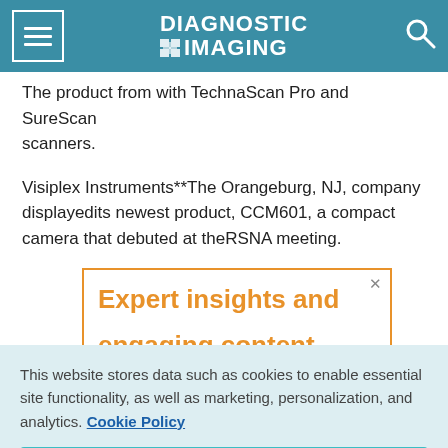DIAGNOSTIC IMAGING
The product from with TechnaScan Pro and SureScan scanners.
Visiplex Instruments**The Orangeburg, NJ, company displayedits newest product, CCM601, a compact camera that debuted at theRSNA meeting.
[Figure (other): Advertisement box with orange border showing 'Expert insights and engaging content' in orange text with an X close button]
This website stores data such as cookies to enable essential site functionality, as well as marketing, personalization, and analytics. Cookie Policy
Accept
Deny